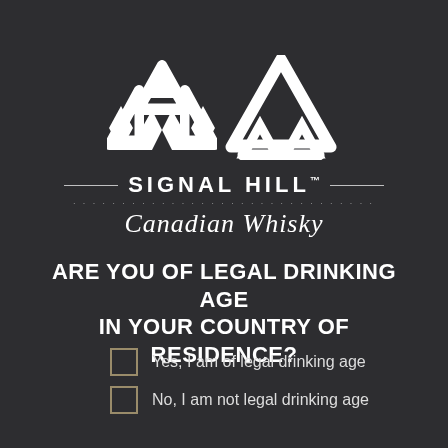[Figure (logo): Signal Hill Canadian Whisky logo: three interlocked triangles forming a Norse valknut symbol in white, with the brand name SIGNAL HILL and cursive Canadian Whisky text below]
ARE YOU OF LEGAL DRINKING AGE IN YOUR COUNTRY OF RESIDENCE?
Yes, I am of legal drinking age
No, I am not legal drinking age